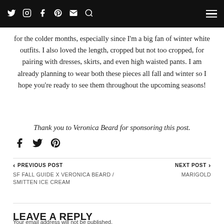and black compliment each other (who doesn't love white and black!) and love that the shearling makes this piece so perfect for the colder months...
for the colder months, especially since I'm a big fan of winter white outfits. I also loved the length, cropped but not too cropped, for pairing with dresses, skirts, and even high waisted pants. I am already planning to wear both these pieces all fall and winter so I hope you're ready to see them throughout the upcoming seasons!
Thank you to Veronica Beard for sponsoring this post.
Share icons: Facebook, Twitter, Pinterest
< PREVIOUS POST
SF FALL GUIDE X VERONICA BEARD / SMITTEN ICE CREAM
NEXT POST >
MARIGOLD
LEAVE A REPLY
Your email address will not be published.